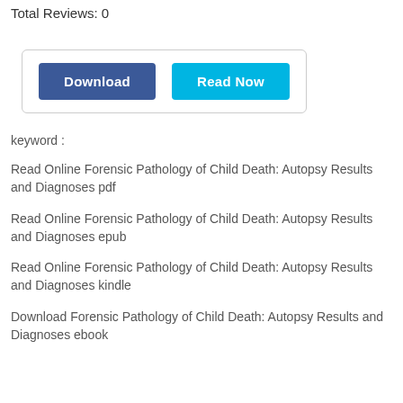Total Reviews: 0
[Figure (screenshot): Two buttons: Download (dark blue) and Read Now (light blue) inside a rounded border box]
keyword :
Read Online Forensic Pathology of Child Death: Autopsy Results and Diagnoses pdf
Read Online Forensic Pathology of Child Death: Autopsy Results and Diagnoses epub
Read Online Forensic Pathology of Child Death: Autopsy Results and Diagnoses kindle
Download Forensic Pathology of Child Death: Autopsy Results and Diagnoses ebook